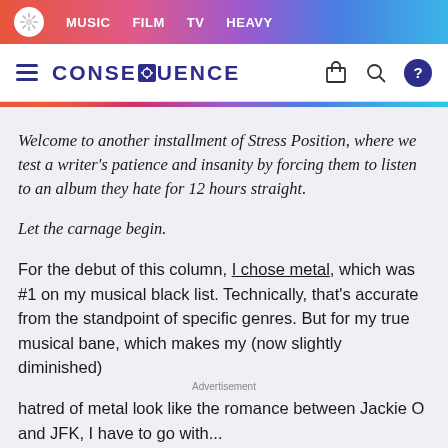MUSIC  FILM  TV  HEAVY
CONSEQUENCE
Welcome to another installment of Stress Position, where we test a writer's patience and insanity by forcing them to listen to an album they hate for 12 hours straight.
Let the carnage begin.
For the debut of this column, I chose metal, which was #1 on my musical black list. Technically, that's accurate from the standpoint of specific genres. But for my true musical bane, which makes my (now slightly diminished) hatred of metal look like the romance between Jackie O and JFK, I have to go with...